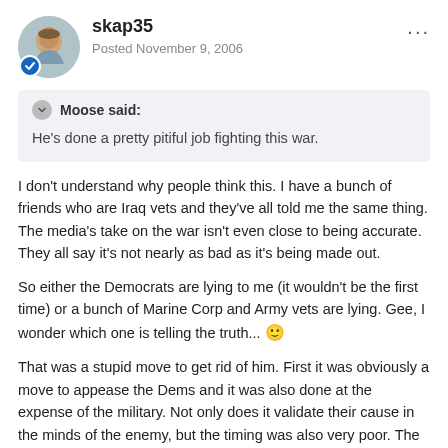skap35 — Posted November 9, 2006
Moose said:
He's done a pretty pitiful job fighting this war.
I don't understand why people think this. I have a bunch of friends who are Iraq vets and they've all told me the same thing. The media's take on the war isn't even close to being accurate. They all say it's not nearly as bad as it's being made out.
So either the Democrats are lying to me (it wouldn't be the first time) or a bunch of Marine Corp and Army vets are lying. Gee, I wonder which one is telling the truth... 🙂
That was a stupid move to get rid of him. First it was obviously a move to appease the Dems and it was also done at the expense of the military. Not only does it validate their cause in the minds of the enemy, but the timing was also very poor. The new guy will only have two years to get anything done before there is